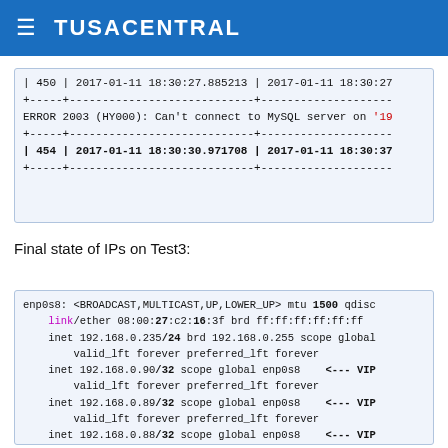≡  TUSACENTRAL
[Figure (screenshot): Code block showing MySQL table output with rows 450 and 454, and an ERROR 2003 (HY000): Can't connect to MySQL server on '19...']
Final state of IPs on Test3:
[Figure (screenshot): Terminal output showing network interface enp0s8 with IP addresses 192.168.0.235/24, 192.168.0.90/32, 192.168.0.89/32, 192.168.0.88/32 and VIP annotations]